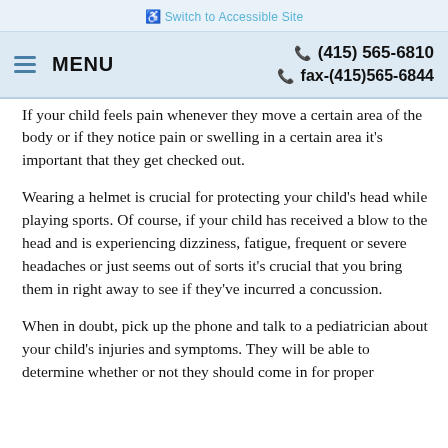♿ Switch to Accessible Site
≡ MENU   ☎ (415) 565-6810   ☎ fax-(415)565-6844
If your child feels pain whenever they move a certain area of the body or if they notice pain or swelling in a certain area it's important that they get checked out.
Wearing a helmet is crucial for protecting your child's head while playing sports. Of course, if your child has received a blow to the head and is experiencing dizziness, fatigue, frequent or severe headaches or just seems out of sorts it's crucial that you bring them in right away to see if they've incurred a concussion.
When in doubt, pick up the phone and talk to a pediatrician about your child's injuries and symptoms. They will be able to determine whether or not they should come in for proper